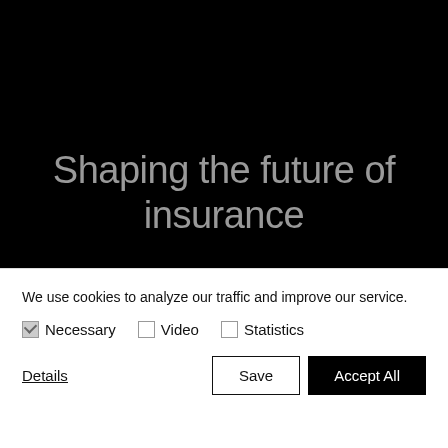Shaping the future of insurance
We use cookies to analyze our traffic and improve our service.
Necessary ☑ Video ☐ Statistics ☐
Details  Save  Accept All